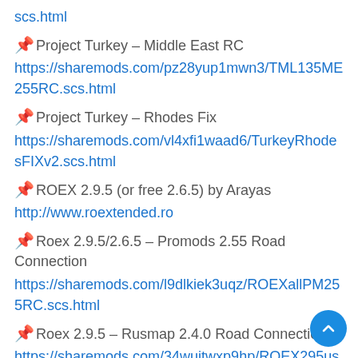scs.html
📌 Project Turkey – Middle East RC
https://sharemods.com/pz28yup1mwn3/TML135ME255RC.scs.html
📌 Project Turkey – Rhodes Fix
https://sharemods.com/vl4xfi1waad6/TurkeyRhodesFIXv2.scs.html
📌 ROEX 2.9.5 (or free 2.6.5) by Arayas
http://www.roextended.ro
📌 Roex 2.9.5/2.6.5 – Promods 2.55 Road Connection
https://sharemods.com/l9dlkiek3uqz/ROEXallPM255RC.scs.html
📌 Roex 2.9.5 – Rusmap 2.4.0 Road Connection
https://sharemods.com/34wuitwxp9hp/ROEX295usMap240RCv2.scs.html